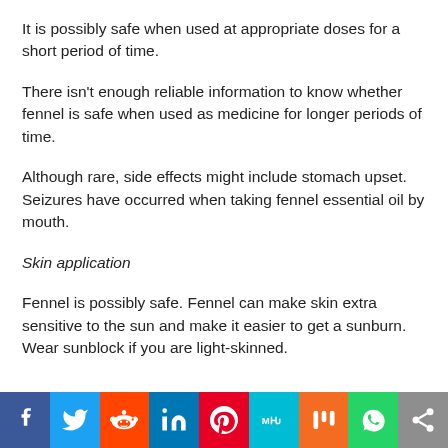It is possibly safe when used at appropriate doses for a short period of time.
There isn’t enough reliable information to know whether fennel is safe when used as medicine for longer periods of time.
Although rare, side effects might include stomach upset. Seizures have occurred when taking fennel essential oil by mouth.
Skin application
Fennel is possibly safe. Fennel can make skin extra sensitive to the sun and make it easier to get a sunburn. Wear sunblock if you are light-skinned.
[Figure (infographic): Social media sharing bar with icons for Facebook, Twitter, Reddit, LinkedIn, Pinterest, MeWe, Mix, WhatsApp, and a share button.]